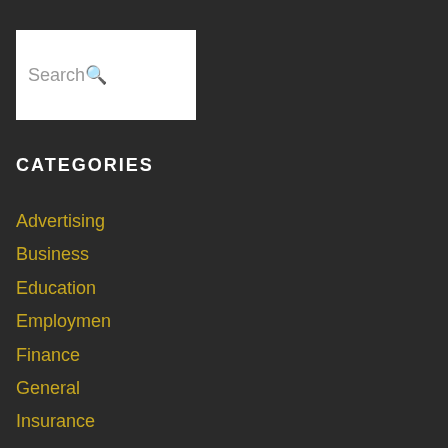[Figure (screenshot): Search box with white background and 'Search' placeholder text with magnifying glass icon]
CATEGORIES
Advertising
Business
Education
Employmen
Finance
General
Insurance
Leadership
Loans
Managemer